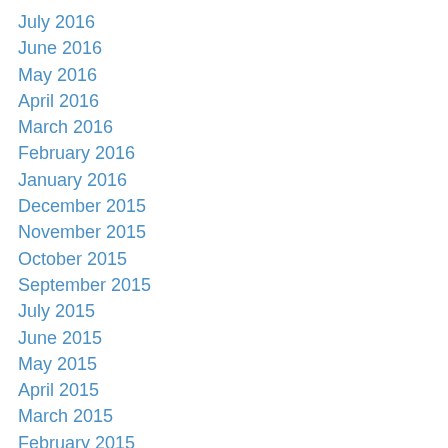July 2016
June 2016
May 2016
April 2016
March 2016
February 2016
January 2016
December 2015
November 2015
October 2015
September 2015
July 2015
June 2015
May 2015
April 2015
March 2015
February 2015
January 2015
December 2014
November 2014